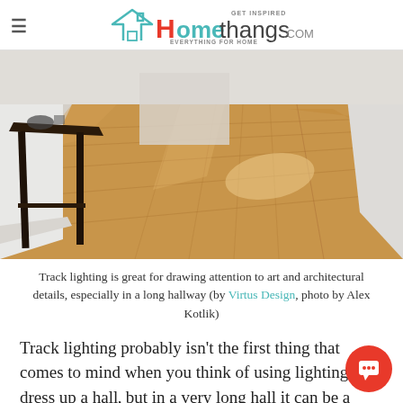Homethangs.com — Get Inspired, Everything For Home
[Figure (photo): A long hallway with polished light hardwood floor and a dark wood console table on the left side, with white baseboards and walls receding into the distance.]
Track lighting is great for drawing attention to art and architectural details, especially in a long hallway (by Virtus Design, photo by Alex Kotlik)
Track lighting probably isn't the first thing that comes to mind when you think of using lighting to dress up a hall, but in a very long hall it can be a surprisingly effective option.